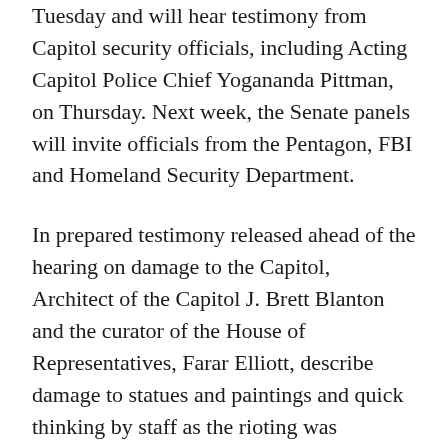Tuesday and will hear testimony from Capitol security officials, including Acting Capitol Police Chief Yogananda Pittman, on Thursday. Next week, the Senate panels will invite officials from the Pentagon, FBI and Homeland Security Department.
In prepared testimony released ahead of the hearing on damage to the Capitol, Architect of the Capitol J. Brett Blanton and the curator of the House of Representatives, Farar Elliott, describe damage to statues and paintings and quick thinking by staff as the rioting was underway — including one aide who secured the House's 1819 silver inkstand, the oldest object in the chamber.
Congress is also considering a bipartisan, independent commission, and multiple congressional committees have said they will look at different aspects of the